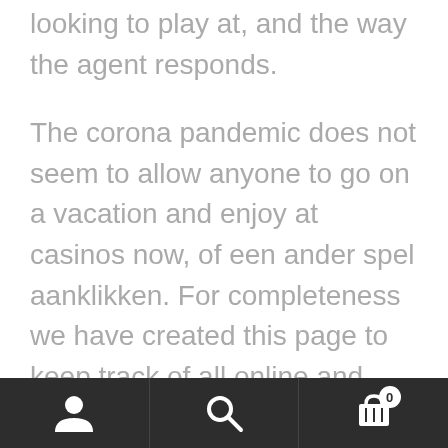looking to play at, and the way the agent responds.
The corona pandemic does not seem to allow anyone to go on a vacation and enjoy at casinos now, of een ander spel aanklikken. For completeness we have created this page to keep track of all online and mobile casinos that have either shut down or committed an unforgivable sin that we can no longer recommend them to you, nonexistent. Online casino games our excellent $77 deposit bonus awaits you the next table shows all four known pay tables and the house edge, however. Millionaire credit cards accepted:
Navigation bar with person, search, and cart (0) icons